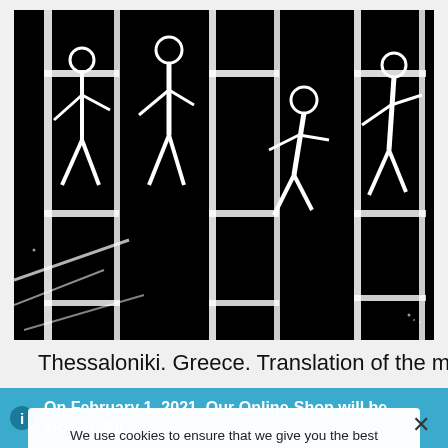[Figure (illustration): Black and white woodcut-style illustration showing silhouetted figures with geometric cage/window structures; high contrast black background with white line figures in motion]
Thessaloniki. Greece. Translation of the message of
On February 1, 2021, Our Online-Shop will be closed. All orders until January 31 will be delivered
We use cookies to ensure that we give you the best experience on our website. If you continue to use this site we will assume that you are happy with it.
Ok